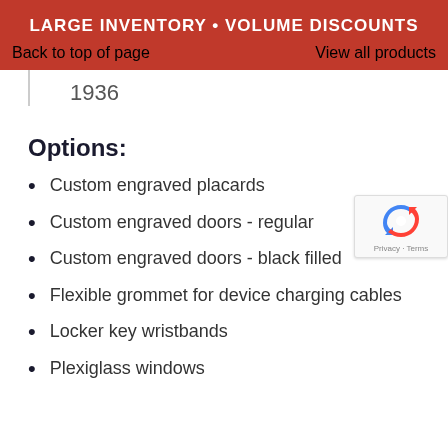LARGE INVENTORY • VOLUME DISCOUNTS
Back to top of page    View all products
1936
Options:
Custom engraved placards
Custom engraved doors - regular
Custom engraved doors - black filled
Flexible grommet for device charging cables
Locker key wristbands
Plexiglass windows